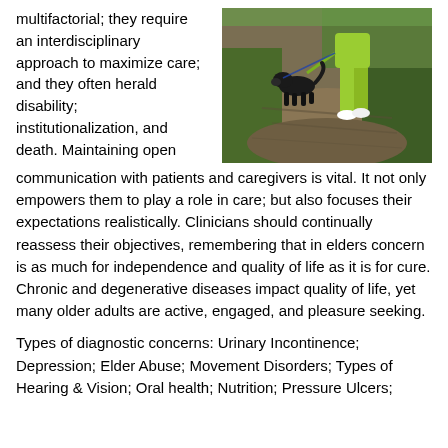multifactorial; they require an interdisciplinary approach to maximize care; and they often herald disability; institutionalization, and death. Maintaining open communication with patients and caregivers is vital. It not only empowers them to play a role in care; but also focuses their expectations realistically. Clinicians should continually reassess their objectives, remembering that in elders concern is as much for independence and quality of life as it is for cure. Chronic and degenerative diseases impact quality of life, yet many older adults are active, engaged, and pleasure seeking.
[Figure (photo): A person in green clothing walking a black dog on a dirt path surrounded by greenery.]
Types of diagnostic concerns: Urinary Incontinence; Depression; Elder Abuse; Movement Disorders; Types of Hearing & Vision; Oral health; Nutrition; Pressure Ulcers;